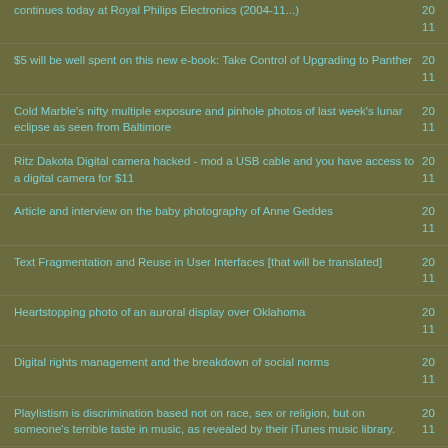continues today at Royal Philips Electronics (2004-11...)
$5 will be well spent on this new e-book: Take Control of Upgrading to Panther
Cold Marble's nifty multiple exposure and pinhole photos of last week's lunar eclipse as seen from Baltimore
Ritz Dakota Digital camera hacked - mod a USB cable and you have access to a digital camera for $11
Article and interview on the baby photography of Anne Geddes
Text Fragmentation and Reuse in User Interfaces [that will be translated]
Heartstopping photo of an auroral display over Oklahoma
Digital rights management and the breakdown of social norms
Playlistism is discrimination based not on race, sex or religion, but on someone's terrible taste in music, as revealed by their iTunes music library.
The entire issue of the new IBM Systems Journal is on ease of use
Great Flash animation on how LEGO bricks are manufactured